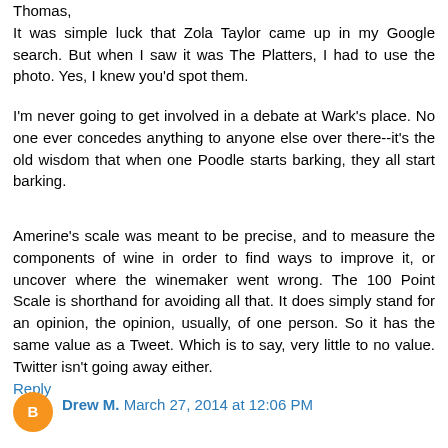Thomas,
It was simple luck that Zola Taylor came up in my Google search. But when I saw it was The Platters, I had to use the photo. Yes, I knew you'd spot them.
I'm never going to get involved in a debate at Wark's place. No one ever concedes anything to anyone else over there--it's the old wisdom that when one Poodle starts barking, they all start barking.
Amerine's scale was meant to be precise, and to measure the components of wine in order to find ways to improve it, or uncover where the winemaker went wrong. The 100 Point Scale is shorthand for avoiding all that. It does simply stand for an opinion, the opinion, usually, of one person. So it has the same value as a Tweet. Which is to say, very little to no value. Twitter isn't going away either.
Reply
Drew M.  March 27, 2014 at 12:06 PM